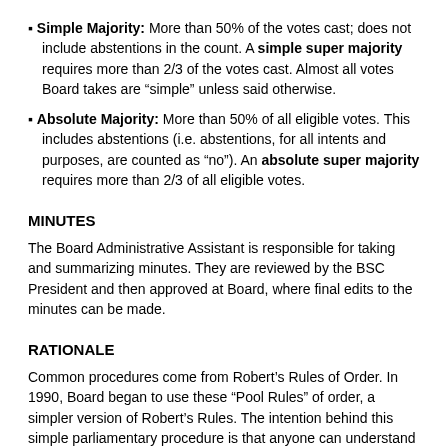Simple Majority: More than 50% of the votes cast; does not include abstentions in the count. A simple super majority requires more than 2/3 of the votes cast. Almost all votes Board takes are “simple” unless said otherwise.
Absolute Majority: More than 50% of all eligible votes. This includes abstentions (i.e. abstentions, for all intents and purposes, are counted as “no”). An absolute super majority requires more than 2/3 of all eligible votes.
MINUTES
The Board Administrative Assistant is responsible for taking and summarizing minutes. They are reviewed by the BSC President and then approved at Board, where final edits to the minutes can be made.
RATIONALE
Common procedures come from Robert’s Rules of Order. In 1990, Board began to use these “Pool Rules” of order, a simpler version of Robert’s Rules. The intention behind this simple parliamentary procedure is that anyone can understand our process by looking at a few pages, compared to Robert’s Rules: 700 pages; and Robert’s Rules in Brief: 176 pages. Complicated procedures have the capability to disenfranchise those unfamiliar with the process and to give undue power to those who are